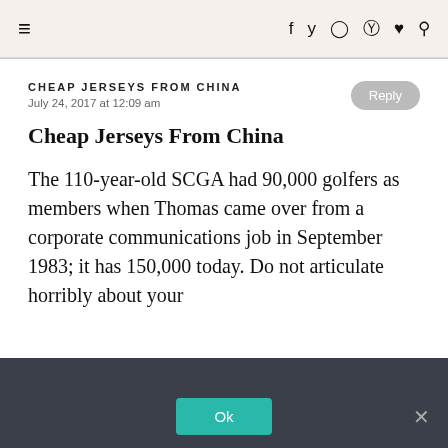≡  f  twitter  instagram  pinterest  ♥  search
CHEAP JERSEYS FROM CHINA
July 24, 2017 at 12:09 am
Cheap Jerseys From China
The 110-year-old SCGA had 90,000 golfers as members when Thomas came over from a corporate communications job in September 1983; it has 150,000 today. Do not articulate horribly about your
Privacy & Cookies: This site uses cookies. By continuing to use this
We use cookies to ensure that we give you the best experience on our website. If you continue to use this site we will assume that you are happy with it.
Ok